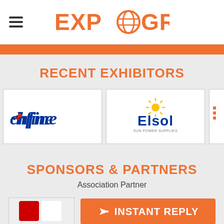EXPO GROUP
RECENT EXHIBITORS
[Figure (logo): Techfine company logo — italic blue text with a red dot]
[Figure (logo): Elsol company logo — blue text with yellow sun graphic]
[Figure (logo): Partially visible third exhibitor logo]
SPONSORS & PARTNERS
Association Partner
[Figure (logo): Partially visible sponsor logo at bottom left]
INSTANT REPLY